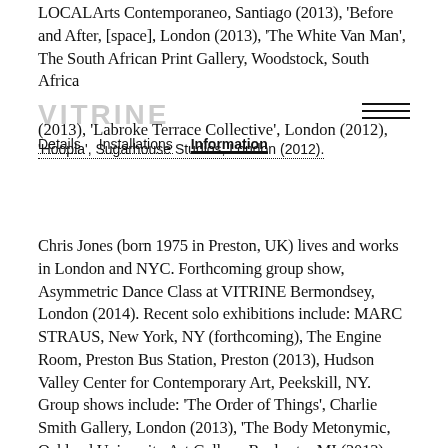LOCALArts Contemporaneo, Santiago (2013), 'Before and After, [space], London (2013), 'The White Van Man', The South African Print Gallery, Woodstock, South Africa (2013), 'Labroke Terrace Collective', London (2012), 'Hoopla', Sugarhouse Studios, London (2012).
VITRINE  Details  Installations  Information
Chris Jones (born 1975 in Preston, UK) lives and works in London and NYC. Forthcoming group show, Asymmetric Dance Class at VITRINE Bermondsey, London (2014). Recent solo exhibitions include: MARC STRAUS, New York, NY (forthcoming), The Engine Room, Preston Bus Station, Preston (2013), Hudson Valley Center for Contemporary Art, Peekskill, NY. Group shows include: 'The Order of Things', Charlie Smith Gallery, London (2013), 'The Body Metonymic, Oakland University Art Gallery, Rochester MI (2013), 'New Sensations' and 'The Future Can Wait', The Saatchi Gallery and Channel 4, B1, Victoria House, London, England (2013), 'The First Cut: Paper at the Cutting Edge', Manchester Art Gallery